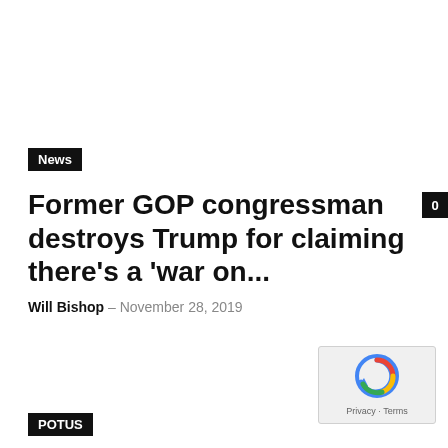News
Former GOP congressman destroys Trump for claiming there's a 'war on...
Will Bishop – November 28, 2019
POTUS
[Figure (logo): reCAPTCHA logo with Privacy and Terms links]